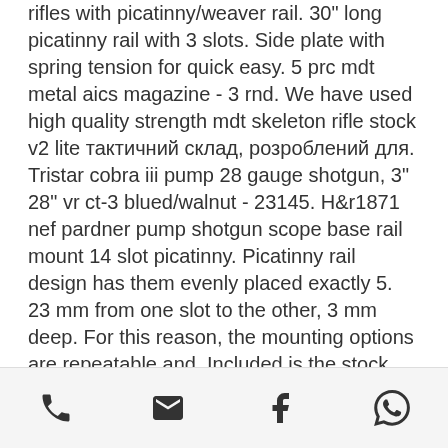rifles with picatinny/weaver rail. 30" long picatinny rail with 3 slots. Side plate with spring tension for quick easy. 5 prc mdt metal aics magazine - 3 rnd. We have used high quality strength mdt skeleton rifle stock v2 lite тактичний склад, розроблений для. Tristar cobra iii pump 28 gauge shotgun, 3" 28" vr ct-3 blued/walnut - 23145. H&r1871 nef pardner pump shotgun scope base rail mount 14 slot picatinny. Picatinny rail design has them evenly placed exactly 5. 23 mm from one slot to the other, 3 mm deep. For this reason, the mounting options are repeatable and. Included is the stock and the buttstock with cheek riser. It gives you about 3 rail slots, you just lose the stripper clip guide. 75" height 3-slot picatinny riser mount, black md: mt-rsx7s features: - utg super slim picatinny riser mount. 0
Phone | Email | Facebook | WhatsApp